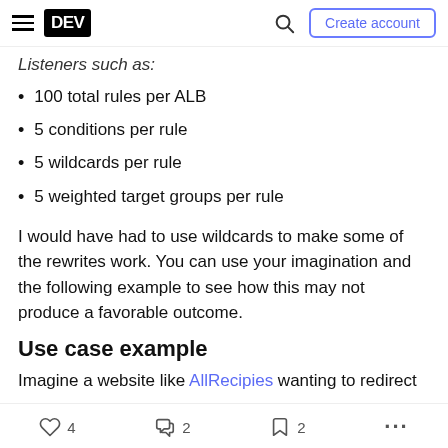DEV | Create account
Listeners such as:
100 total rules per ALB
5 conditions per rule
5 wildcards per rule
5 weighted target groups per rule
I would have had to use wildcards to make some of the rewrites work. You can use your imagination and the following example to see how this may not produce a favorable outcome.
Use case example
Imagine a website like AllRecipies wanting to redirect
4   2   2   ...